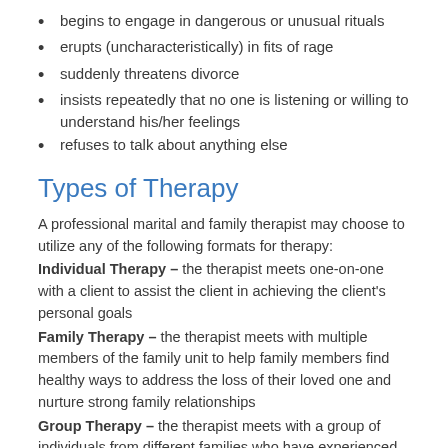begins to engage in dangerous or unusual rituals
erupts (uncharacteristically) in fits of rage
suddenly threatens divorce
insists repeatedly that no one is listening or willing to understand his/her feelings
refuses to talk about anything else
Types of Therapy
A professional marital and family therapist may choose to utilize any of the following formats for therapy: Individual Therapy – the therapist meets one-on-one with a client to assist the client in achieving the client's personal goals Family Therapy – the therapist meets with multiple members of the family unit to help family members find healthy ways to address the loss of their loved one and nurture strong family relationships Group Therapy – the therapist meets with a group of individuals from different families who have experienced the